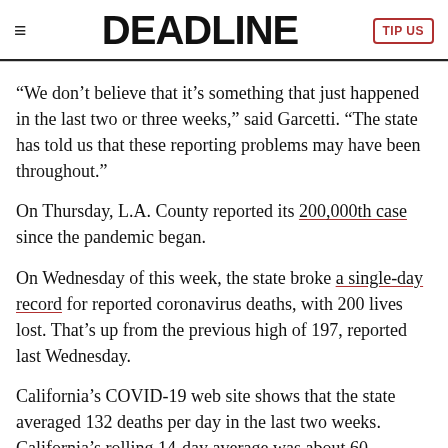DEADLINE
“We don’t believe that it’s something that just happened in the last two or three weeks,” said Garcetti. “The state has told us that these reporting problems may have been throughout.”
On Thursday, L.A. County reported its 200,000th case since the pandemic began.
On Wednesday of this week, the state broke a single-day record for reported coronavirus deaths, with 200 lives lost. That’s up from the previous high of 197, reported last Wednesday.
California’s COVID-19 web site shows that the state averaged 132 deaths per day in the last two weeks. California’s rolling 14-day average was about 60 fatalities before July 4. That average rose to 80 by July 11, climbed to 100 by July 18 and hit 115 by the end of July. It now sits at 130.
Previous to that, the 14-day average of coronavirus deaths in the